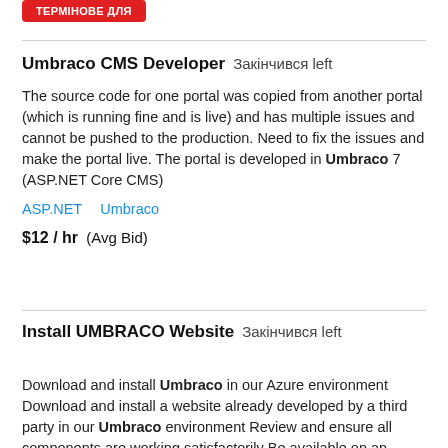[Figure (other): Red button with Cyrillic text at top left]
Umbraco CMS Developer  Закінчився left
The source code for one portal was copied from another portal (which is running fine and is live) and has multiple issues and cannot be pushed to the production. Need to fix the issues and make the portal live. The portal is developed in Umbraco 7 (ASP.NET Core CMS)
ASP.NET   Umbraco
$12 / hr  (Avg Bid)
Install UMBRACO Website  Закінчився left
Download and install Umbraco in our Azure environment Download and install a website already developed by a third party in our Umbraco environment Review and ensure all components are working satisfactorily Be available on an ongoing basis to fine tune or update...